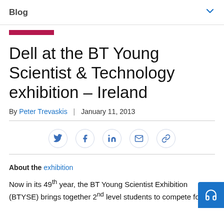Blog
Dell at the BT Young Scientist & Technology exhibition – Ireland
By Peter Trevaskis | January 11, 2013
[Figure (other): Social sharing icons: Twitter, Facebook, LinkedIn, Email, Link]
About the exhibition
Now in its 49th year, the BT Young Scientist Exhibition (BTYSE) brings together 2nd level students to compete for